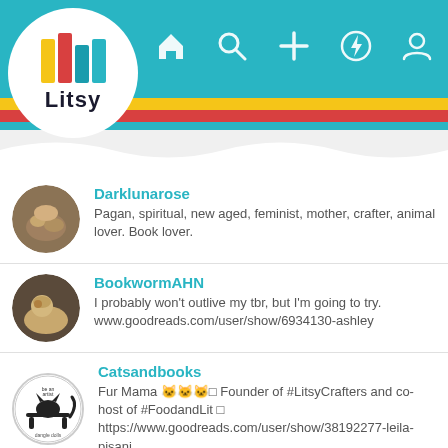[Figure (screenshot): Litsy app header with teal navigation bar, logo circle with stacked books, and nav icons (home, search, add, activity, profile). Colored stripes in yellow and red below the teal bar.]
Darklunarose
Pagan, spiritual, new aged, feminist, mother, crafter, animal lover. Book lover.
BookwormAHN
I probably won't outlive my tbr, but I'm going to try. www.goodreads.com/user/show/6934130-ashley
Catsandbooks
Fur Mama 🐱🐱🐱□ Founder of #LitsyCrafters and co-host of #FoodandLit □ https://www.goodreads.com/user/show/38192277-leila-pisani
Bklover
Introvert, retired, book hoarder, tea drinker, mom, dog lover, cat lover.